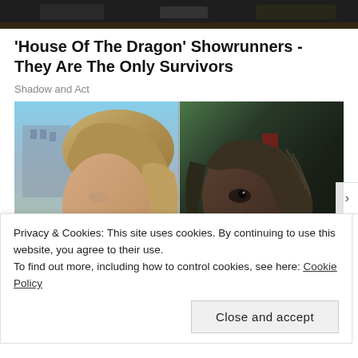[Figure (photo): Dark screenshot image at the top of the page showing a scene, cropped at the top]
'House Of The Dragon' Showrunners - They Are The Only Survivors
Shadow and Act
[Figure (photo): Two side-by-side photos: left shows a blonde woman in profile view outdoors, right shows a Black woman with braids in a dark scene]
Privacy & Cookies: This site uses cookies. By continuing to use this website, you agree to their use.
To find out more, including how to control cookies, see here: Cookie Policy
Close and accept